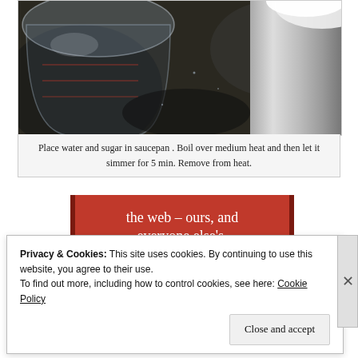[Figure (photo): Close-up photo of a glass measuring cup and a metal saucepan on a dark granite countertop]
Place water and sugar in saucepan . Boil over medium heat and then let it simmer for 5 min. Remove from heat.
[Figure (screenshot): Red advertisement banner with white serif text reading 'the web – ours, and everyone else's.' and a black 'Start reading' button]
Privacy & Cookies: This site uses cookies. By continuing to use this website, you agree to their use.
To find out more, including how to control cookies, see here: Cookie Policy